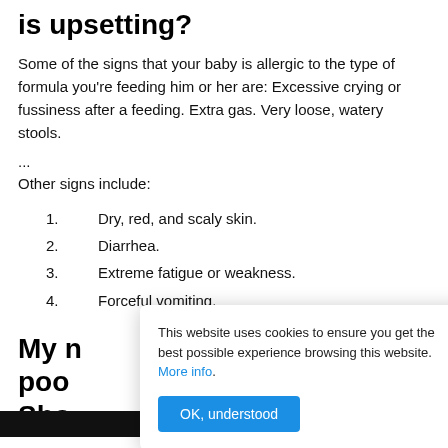is upsetting?
Some of the signs that your baby is allergic to the type of formula you're feeding him or her are: Excessive crying or fussiness after a feeding. Extra gas. Very loose, watery stools.
...
Other signs include:
1. Dry, red, and scaly skin.
2. Diarrhea.
3. Extreme fatigue or weakness.
4. Forceful vomiting.
My n
poo
Sho
This website uses cookies to ensure you get the best possible experience browsing this website. More info.
OK, understood